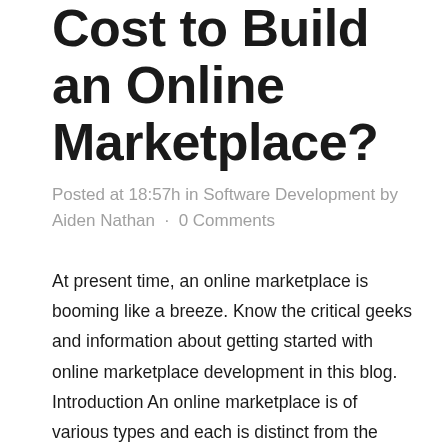Cost to Build an Online Marketplace?
Posted at 18:57h in Software Development by Aiden Nathan · 0 Comments
At present time, an online marketplace is booming like a breeze. Know the critical geeks and information about getting started with online marketplace development in this blog. Introduction An online marketplace is of various types and each is distinct from the other in terms of